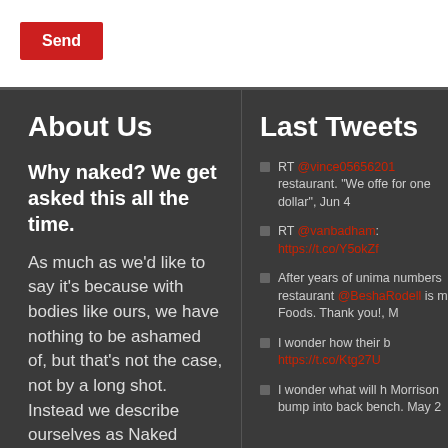Send
About Us
Last Tweets
Why naked? We get asked this all the time.
As much as we'd like to say it's because with bodies like ours, we have nothing to be ashamed of, but that's not the case, not by a long shot. Instead we describe ourselves as Naked Hungry Travellers because we're nakedly honest and we're hungry for everything wonderful about travel.
RT @vince05656201 restaurant. "We offe for one dollar", Jun 4
RT @vanbadham: https://t.co/Y5okZf
After years of unima numbers restaurant @BeshaRodell is m Foods. Thank you!, M
I wonder how their b https://t.co/Ktg27U
I wonder what will h Morrison bump into back bench. May 2